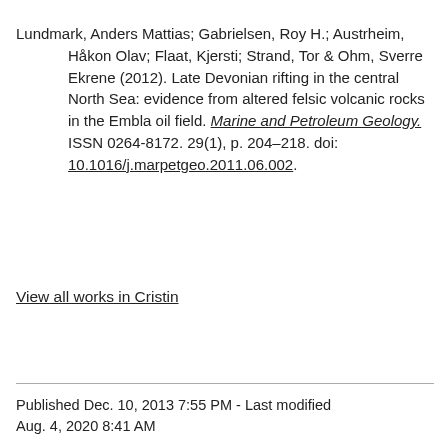Lundmark, Anders Mattias; Gabrielsen, Roy H.; Austrheim, Håkon Olav; Flaat, Kjersti; Strand, Tor & Ohm, Sverre Ekrene (2012). Late Devonian rifting in the central North Sea: evidence from altered felsic volcanic rocks in the Embla oil field. Marine and Petroleum Geology. ISSN 0264-8172. 29(1), p. 204–218. doi: 10.1016/j.marpetgeo.2011.06.002.
View all works in Cristin
Published Dec. 10, 2013 7:55 PM - Last modified Aug. 4, 2020 8:41 AM